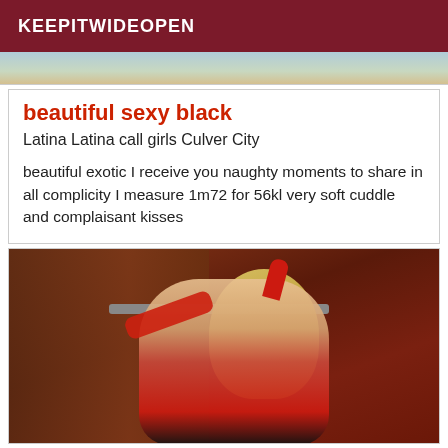KEEPITWIDEOPEN
[Figure (photo): Partial top strip of a photo showing background colors]
beautiful sexy black
Latina Latina call girls Culver City
beautiful exotic I receive you naughty moments to share in all complicity I measure 1m72 for 56kl very soft cuddle and complaisant kisses
[Figure (photo): Photo of a blonde woman in red costume holding a pole, with reddish-brown wooden cabinet background]